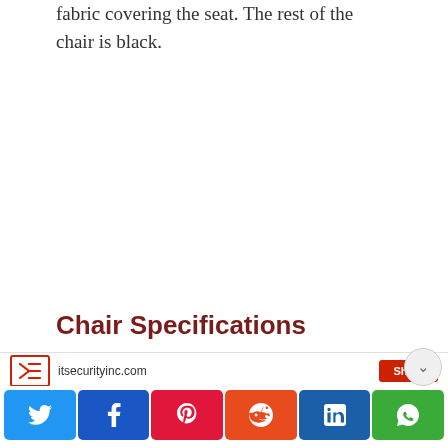fabric covering the seat. The rest of the chair is black.
Chair Specifications
In terms of the basic statistics that
[Figure (other): Share bar with itsecurityinc.com logo and red share button]
[Figure (other): Social sharing buttons row: Twitter, Facebook, Pinterest, Reddit, LinkedIn, WhatsApp]